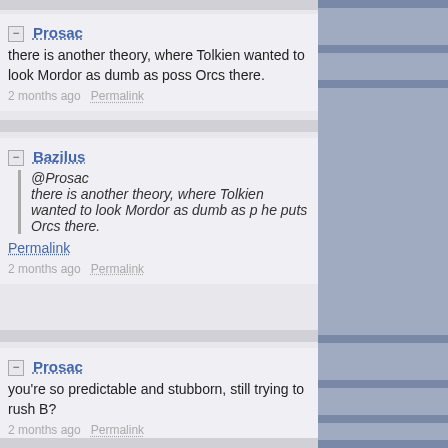— Prosac
there is another theory, where Tolkien wanted to look Mordor as dumb as poss Orcs there.
2 months ago  Permalink
— Bazilus
@Prosac
there is another theory, where Tolkien wanted to look Mordor as dumb as p he puts Orcs there.
Permalink
2 months ago  Permalink
— Prosac
you're so predictable and stubborn, still trying to rush B?
2 months ago  Permalink